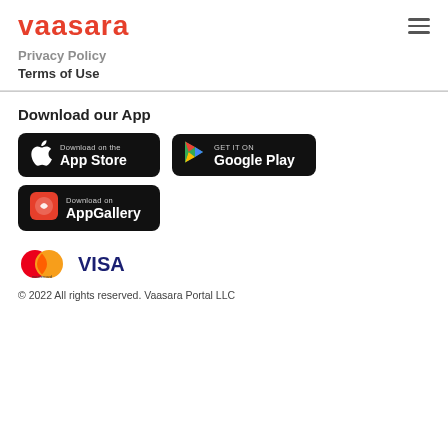vaasara
Privacy Policy
Terms of Use
Download our App
[Figure (logo): Download on the App Store badge (black)]
[Figure (logo): Get it on Google Play badge (black)]
[Figure (logo): Download on AppGallery badge (black with Huawei red icon)]
[Figure (logo): Mastercard and Visa payment logos]
© 2022 All rights reserved. Vaasara Portal LLC